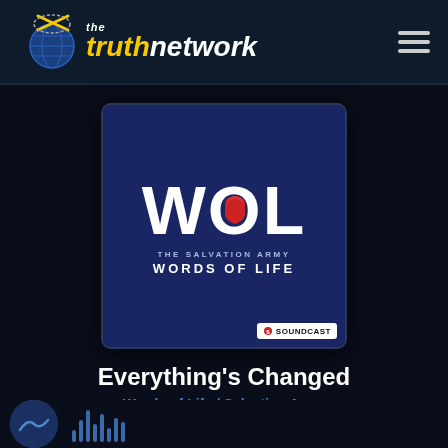the truth network
[Figure (logo): The Truth Network logo with globe/satellite icon and yellow 'truth' text with white 'network' text]
[Figure (illustration): WOL - The Salvation Army Words of Life podcast artwork. Dark navy blue square with 'WOL' in large white letters, red Salvation Army shield in the center of the 'O', text 'THE SALVATION ARMY' and 'WORDS OF LIFE' below, Soundcast badge in bottom right corner.]
Everything's Changed
Words of Life / Salvation Army